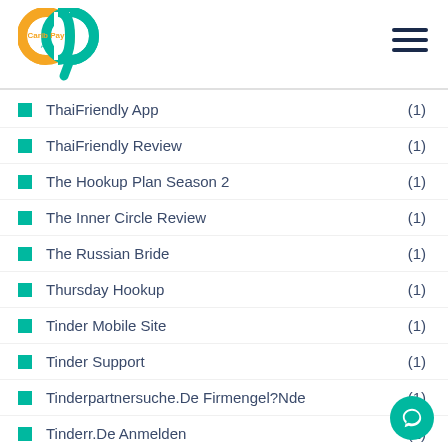Carib Pay App
ThaiFriendly App (1)
ThaiFriendly Review (1)
The Hookup Plan Season 2 (1)
The Inner Circle Review (1)
The Russian Bride (1)
Thursday Hookup (1)
Tinder Mobile Site (1)
Tinder Support (1)
Tinderpartnersuche.De Firmengel?Nde (1)
Tinderr.De Anmelden (1)
Tinderr.De Ich Dachte Dar2Ber (1)